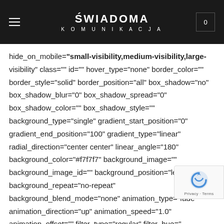admin_toggle="no" type="legacy"][fusion_builder_row] [fusion_builder_column type="2_3" spacing="" center_content="no" link="" target="_self" min_height=""
[Figure (logo): ŚWIADOMA KOMUNIKACJA logo in white text on dark background]
hide_on_mobile="small-visibility,medium-visibility,large-visibility" class="" id="" hover_type="none" border_color="" border_style="solid" border_position="all" box_shadow="no" box_shadow_blur="0" box_shadow_spread="0" box_shadow_color="" box_shadow_style="" background_type="single" gradient_start_position="0" gradient_end_position="100" gradient_type="linear" radial_direction="center center" linear_angle="180" background_color="#f7f7f7" background_image="" background_image_id="" background_position="left top" background_repeat="no-repeat" background_blend_mode="none" animation_type="fade" animation_direction="up" animation_speed="1.0" animation_offset="" filter_type="regular" filter_hue="" filter_saturation="100" filter_brightness="100"